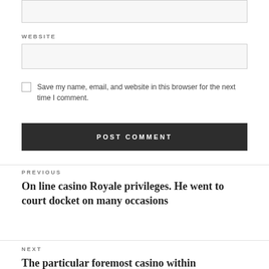[Figure (other): Top input field (partial, top of page)]
WEBSITE
[Figure (other): Website input text field]
Save my name, email, and website in this browser for the next time I comment.
POST COMMENT
PREVIOUS
On line casino Royale privileges. He went to court docket on many occasions
NEXT
The particular foremost casino within